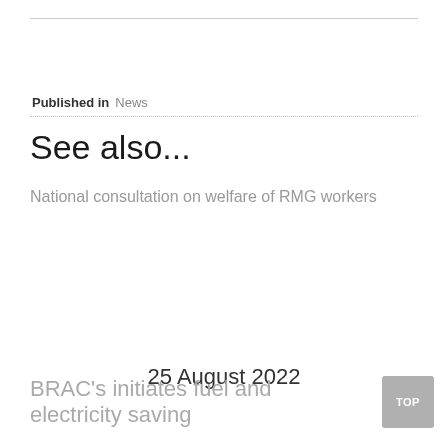Published in News
See also...
National consultation on welfare of RMG workers
25 August 2022
BRAC's initiates fuel and electricity saving